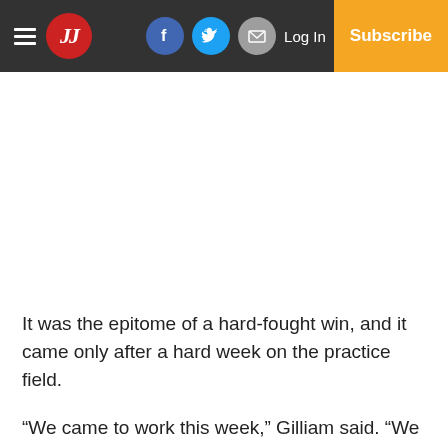JJ newspaper navigation bar with hamburger menu, JJ logo, Facebook, Twitter, Email icons, Log In link, and Subscribe button
It was the epitome of a hard-fought win, and it came only after a hard week on the practice field.
“We came to work this week,” Gilliam said. “We ran a heck of a lot more, and the kids mentioned in the